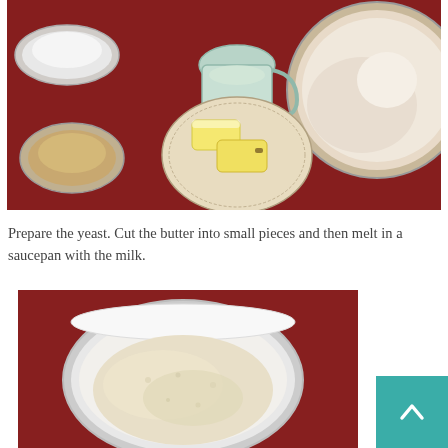[Figure (photo): Overhead view of baking ingredients on a red tablecloth: bowls with flour, butter pats on a decorative plate, a small pitcher with liquid, a bowl of white powder (salt or sugar), and a bowl of brown powder (yeast or brown sugar), plus a large bowl of flour.]
Prepare the yeast. Cut the butter into small pieces and then melt in a saucepan with the milk.
[Figure (photo): Close-up of a white bowl on a red tablecloth containing a liquid mixture, likely yeast dissolved in milk or water.]